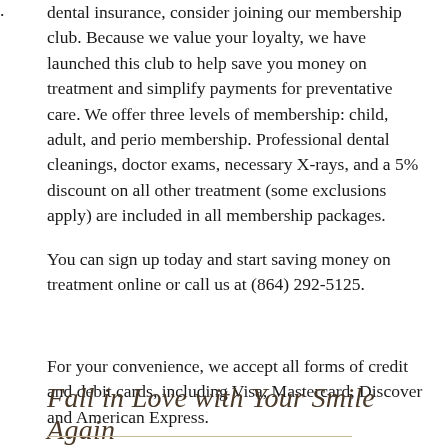dental insurance, consider joining our membership club. Because we value your loyalty, we have launched this club to help save you money on treatment and simplify payments for preventative care. We offer three levels of membership: child, adult, and perio membership. Professional dental cleanings, doctor exams, necessary X-rays, and a 5% discount on all other treatment (some exclusions apply) are included in all membership packages.
You can sign up today and start saving money on treatment online or call us at (864) 292-5125.
.
For your convenience, we accept all forms of credit and debit cards, including Visa, Mastercard, Discover and American Express.
Fall in Love with Your Smile Again